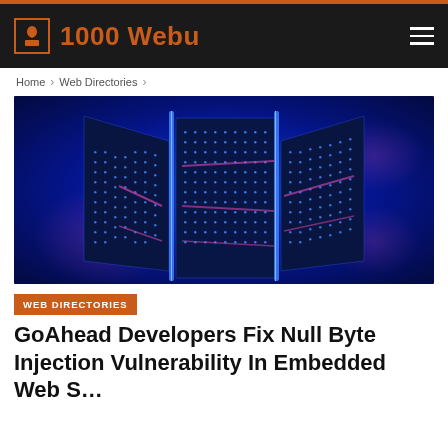1000 Webu
Home > Web Directories >
[Figure (photo): Stylized 3D render of glowing blue server racks with purple/pink accent dots, dark blue background, futuristic data center scene]
WEB DIRECTORIES
GoAhead Developers Fix Null Byte Injection Vulnerability In Embedded Web S…